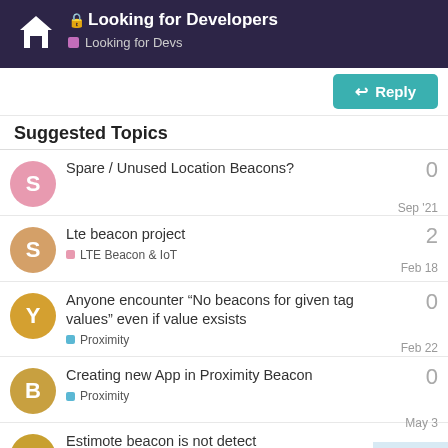Looking for Developers — Looking for Devs
Reply
Suggested Topics
Spare / Unused Location Beacons? — 0 — Sep '21
Lte beacon project — LTE Beacon & IoT — 2 — Feb 18
Anyone encounter “No beacons for given tag values” even if value exsists — Proximity — 0 — Feb 22
Creating new App in Proximity Beacon — Proximity — 0 — May 3
Estimote beacon is not detect latest library of altbeacons 2.1 — 6 / 7